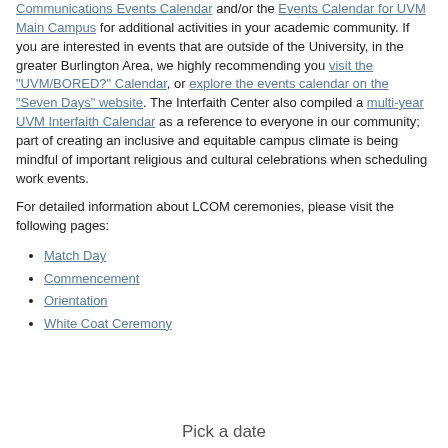Communications Events Calendar and/or the Events Calendar for UVM Main Campus for additional activities in your academic community. If you are interested in events that are outside of the University, in the greater Burlington Area, we highly recommending you visit the "UVM/BORED?" Calendar, or explore the events calendar on the "Seven Days" website. The Interfaith Center also compiled a multi-year UVM Interfaith Calendar as a reference to everyone in our community; part of creating an inclusive and equitable campus climate is being mindful of important religious and cultural celebrations when scheduling work events.
For detailed information about LCOM ceremonies, please visit the following pages:
Match Day
Commencement
Orientation
White Coat Ceremony
Pick a date